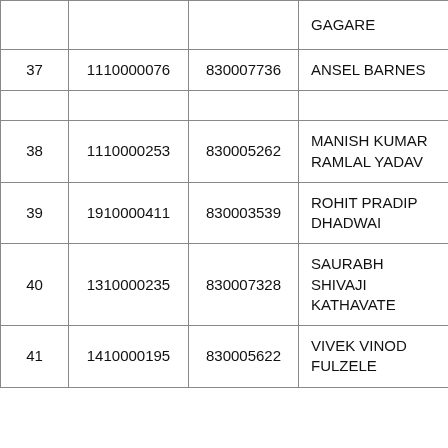|  |  |  |  |
| --- | --- | --- | --- |
|  |  |  | GAGARE |
| 37 | 1110000076 | 830007736 | ANSEL BARNES |
| 38 | 1110000253 | 830005262 | MANISH KUMAR RAMLAL YADAV |
| 39 | 1910000411 | 830003539 | ROHIT PRADIP DHADWAI |
| 40 | 1310000235 | 830007328 | SAURABH SHIVAJI KATHAVATE |
| 41 | 1410000195 | 830005622 | VIVEK VINOD FULZELE |